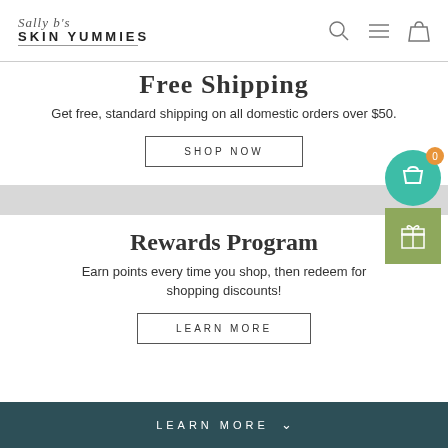Sally b's SKIN YUMMIES
Free Shipping
Get free, standard shipping on all domestic orders over $50.
SHOP NOW
Rewards Program
Earn points every time you shop, then redeem for shopping discounts!
LEARN MORE
LEARN MORE